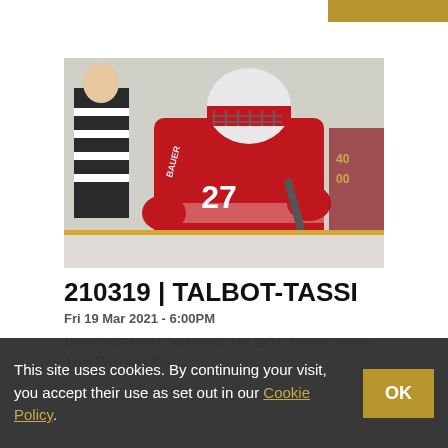[Figure (photo): Hockey player wearing red jersey number 27 in action on ice, holding a stick, wearing white helmet. A referee in black and white stripes is visible in the background.]
210319 | TALBOT-TASSI
Fri 19 Mar 2021 - 6:00PM
DEFENCEMAN DOMINIC TALBOT-TASSI JOINS THE PANTHERS
This site uses cookies. By continuing your visit, you accept their use as set out in our Cookie Policy.